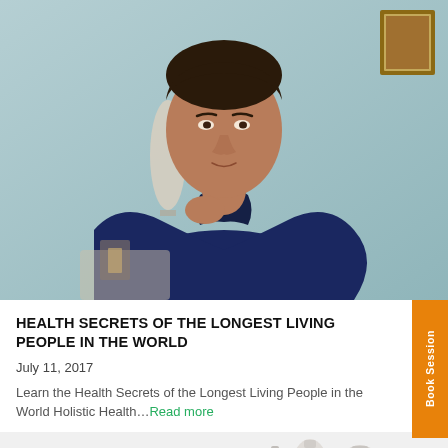[Figure (photo): A middle-aged man wearing a navy blue shirt, seated in a home environment with a light blue/green wall behind him, hand resting near his chin in a contemplative pose.]
HEALTH SECRETS OF THE LONGEST LIVING PEOPLE IN THE WORLD
July 11, 2017
Learn the Health Secrets of the Longest Living People in the World Holistic Health…Read more